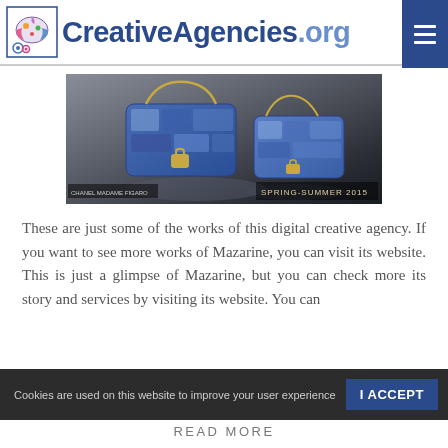CreativeAgencies.org
[Figure (photo): Two blue denim Chanel handbags with gold chain straps on a dark wet surface. Text overlay reads SPRING-SUMMER 2015.]
These are just some of the works of this digital creative agency. If you want to see more works of Mazarine, you can visit its website. This is just a glimpse of Mazarine, but you can check more its story and services by visiting its website. You can also follow it on Facebook and Twitter
Cookies are used on this website to improve your user experience
I ACCEPT
READ MORE